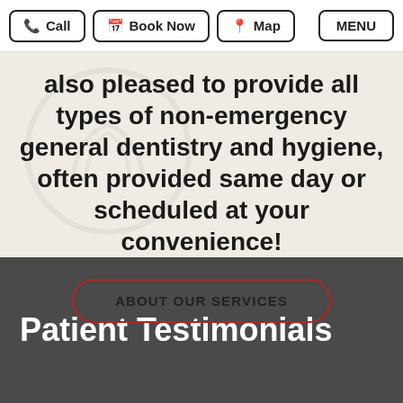Call  Book Now  Map  MENU
also pleased to provide all types of non-emergency general dentistry and hygiene, often provided same day or scheduled at your convenience!
ABOUT OUR SERVICES
Patient Testimonials